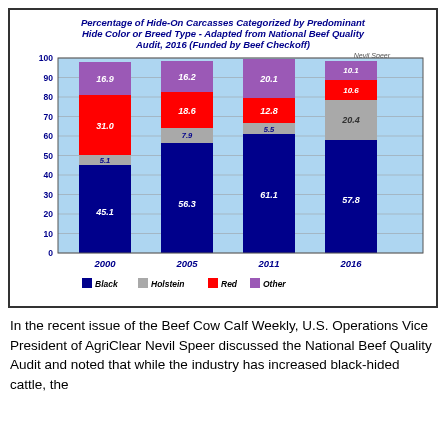[Figure (stacked-bar-chart): Percentage of Hide-On Carcasses Categorized by Predominant Hide Color or Breed Type - Adapted from National Beef Quality Audit, 2016 (Funded by Beef Checkoff)]
In the recent issue of the Beef Cow Calf Weekly, U.S. Operations Vice President of AgriClear Nevil Speer discussed the National Beef Quality Audit and noted that while the industry has increased black-hided cattle, the